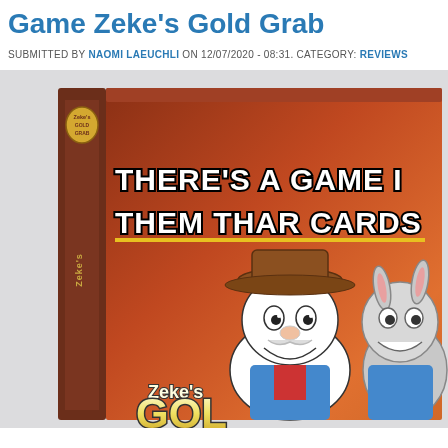Game Zeke's Gold Grab
SUBMITTED BY NAOMI LAEUCHLI ON 12/07/2020 - 08:31. CATEGORY: REVIEWS
[Figure (photo): Photo of the board game box for Zeke's Gold Grab. The box has a reddish-brown background with cartoon characters including a prospector and a donkey. Text on the box reads 'THERE'S A GAME IN THEM THAR CARDS' and 'Zeke's Gold Grab' logo at the bottom. The spine of the box is visible on the left side.]